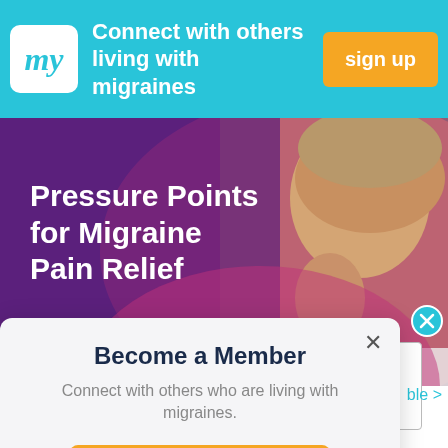[Figure (screenshot): Top cyan/teal banner with 'my' logo, text 'Connect with others living with migraines', and orange 'sign up' button]
[Figure (photo): Woman holding her head in pain (migraine), with purple/pink gradient overlay and white bold text 'Pressure Points for Migraine Pain Relief']
Become a Member
Connect with others who are living with migraines.
get started
[Figure (advertisement): Elyxyb (celecoxib) Oral Solution ad: Migraine relief within reach. Please see Important Safety Information and full Prescribing Information, including Boxed Warning.]
ADVERTISEMENT